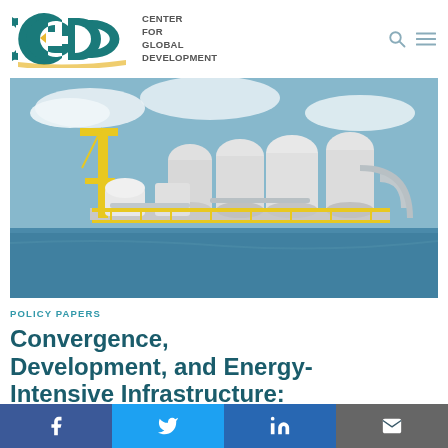[Figure (logo): CGD - Center for Global Development logo with teal and yellow stylized letters and text]
[Figure (photo): Offshore oil and gas processing platform with white tanks, yellow railings, pipes, and blue sky and ocean in background]
POLICY PAPERS
Convergence, Development, and Energy-Intensive Infrastructure: Getting Africa to High
Facebook | Twitter | LinkedIn | Email social sharing bar